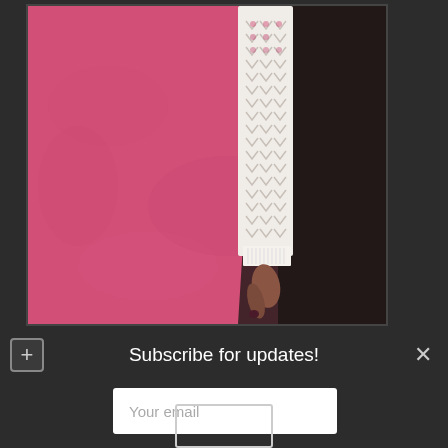[Figure (photo): Photo of a person in a white crochet/knit top and dark pants standing against a bright pink textured wall. Only the torso and arm are visible. The photo is in a frame with a dark border.]
Subscribe for updates!
Your email
Submit!